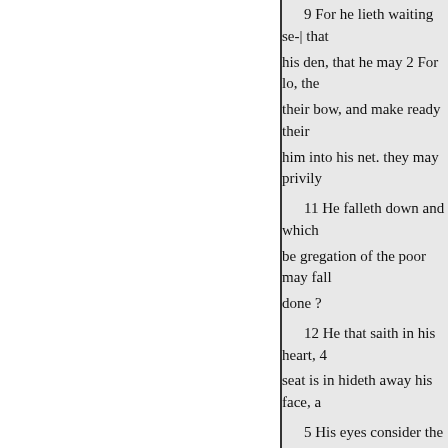9 For he lieth waiting se-| that his den, that he may 2 For lo, the their bow, and make ready their him into his net. they may privily 11 He falleth down and which be gregation of the poor may fall done ? 12 He that saith in his heart, 4 seat is in hideth away his face, a 5 His eyes consider the poor, hand; forget not of men. 6 The LORD alloweth the 14 Y God, while him that delighteth in carest not for it? 7 Upon the ung 15 Surely thou hast seen it; ra tempest: this shall be their portion to drink. 16 That loveth righteousness : his counp the helper that is just. of the frie 17 Break thou the power of th